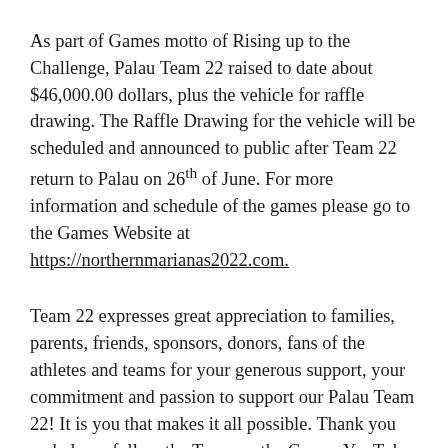As part of Games motto of Rising up to the Challenge, Palau Team 22 raised to date about $46,000.00 dollars, plus the vehicle for raffle drawing. The Raffle Drawing for the vehicle will be scheduled and announced to public after Team 22 return to Palau on 26th of June. For more information and schedule of the games please go to the Games Website at https://northernmarianas2022.com.
Team 22 expresses great appreciation to families, parents, friends, sponsors, donors, fans of the athletes and teams for your generous support, your commitment and passion to support our Palau Team 22! It is you that makes it all possible. Thank you and please follow the Team on the Games YouTube channel and website!